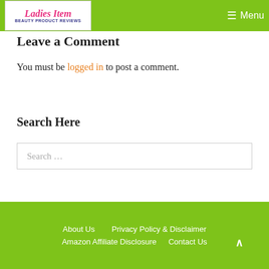Ladies Item – Beauty Product Reviews | Menu
Leave a Comment
You must be logged in to post a comment.
Search Here
Search …
About Us  Privacy Policy & Disclaimer  Amazon Affiliate Disclosure  Contact Us